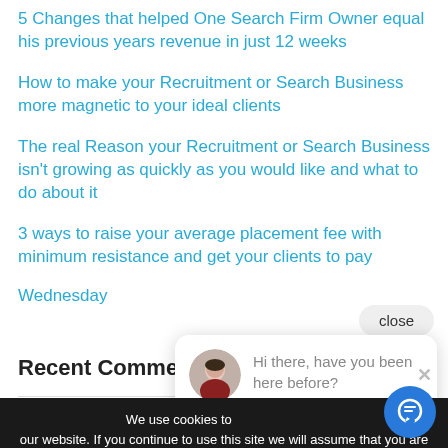5 Changes that helped One Search Firm Owner equal his previous years revenue in just 12 weeks
How to make your Recruitment or Search Business more magnetic to your ideal clients
The real Reason your Recruitment or Search Business isn't growing as quickly as you would like and what to do about it
3 ways to raise your average placement fee with minimum resistance and get your clients to pay
Wednesday
close
Recent Comme
[Figure (photo): Chat popup with avatar photo of a woman and text: Hi there, have you been here before?]
We use cookies to our website. If you continue to use this site we will assume that you are happy with it.
Ok
Privacy policy